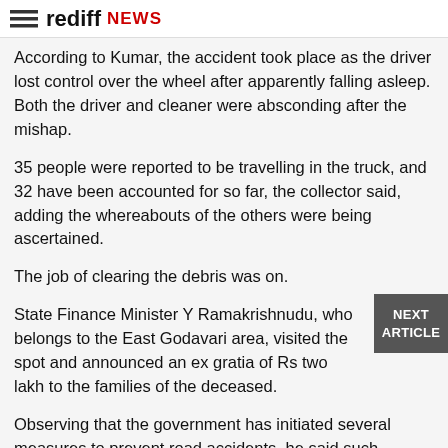rediff NEWS
According to Kumar, the accident took place as the driver lost control over the wheel after apparently falling asleep. Both the driver and cleaner were absconding after the mishap.
35 people were reported to be travelling in the truck, and 32 have been accounted for so far, the collector said, adding the whereabouts of the others were being ascertained.
The job of clearing the debris was on.
State Finance Minister Y Ramakrishnudu, who belongs to the East Godavari area, visited the spot and announced an ex gratia of Rs two lakh to the families of the deceased.
Observing that the government has initiated several measures to prevent road accidents, he said such tragedies often happen due to over-speeding and the drivers not being alert.
“In this case, this vehicle is not involved in the accident with another vehicle. The vehicle tilted as it...